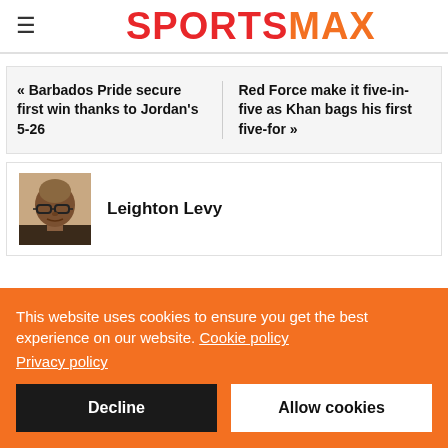SPORTSMAX
« Barbados Pride secure first win thanks to Jordan's 5-26
Red Force make it five-in-five as Khan bags his first five-for »
Leighton Levy
This website uses cookies to ensure you get the best experience on our website. Cookie policy
Privacy policy
Decline
Allow cookies